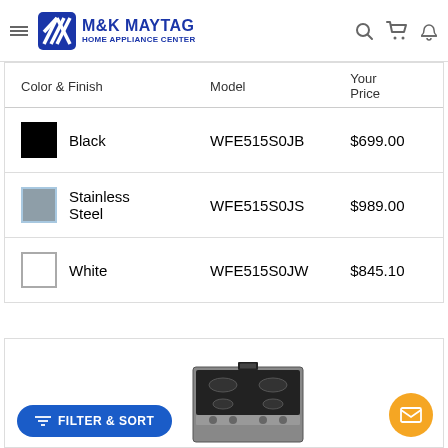M&K MAYTAG HOME APPLIANCE CENTER
| Color & Finish | Model | Your Price |
| --- | --- | --- |
| Black | WFE515S0JB | $699.00 |
| Stainless Steel | WFE515S0JS | $989.00 |
| White | WFE515S0JW | $845.10 |
[Figure (photo): Bottom portion showing a stainless steel electric range/stove appliance with black cooktop]
FILTER & SORT